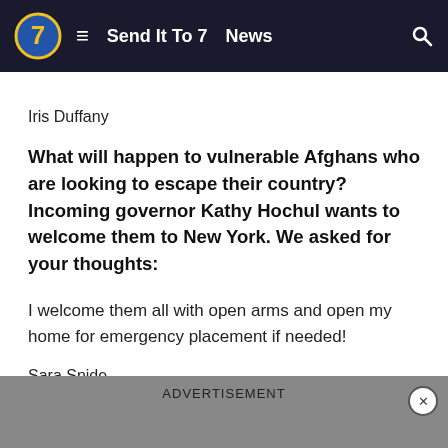Send It To 7  News
Iris Duffany
What will happen to vulnerable Afghans who are looking to escape their country? Incoming governor Kathy Hochul wants to welcome them to New York. We asked for your thoughts:
I welcome them all with open arms and open my home for emergency placement if needed!
Sara Snide
ADVERTISEMENT